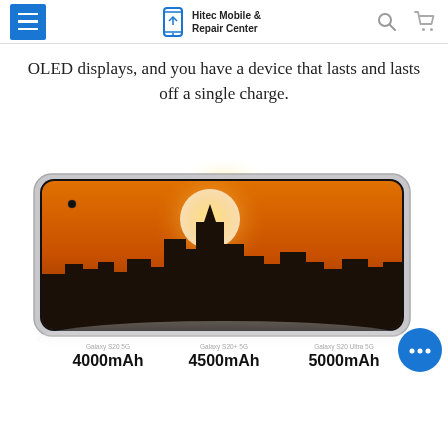Hitec Mobile & Repair Center
OLED displays, and you have a device that lasts and lasts off a single charge.
[Figure (photo): Samsung Galaxy S20 smartphone displayed horizontally with a cityscape sunset wallpaper on screen. Below the phone are three battery capacity labels: Galaxy S20 5G 4000mAh, Galaxy S20+ 5G 4500mAh, Galaxy S20 Ultra 5G 5000mAh.]